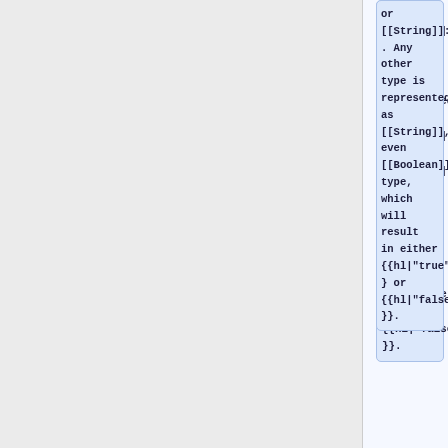or [[String]]: . Any other type is represented as [[String]], even [[Boolean]] type, which will result in either {{hl|"true"}} or {{hl|"false"}}.
+
{{Feature | Warning |
{{hl|"...